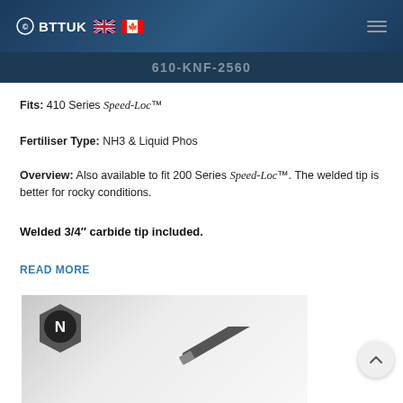©BTTUK [UK flag] [CA flag]
610-KNF-2560
Fits: 410 Series Speed-Loc™
Fertiliser Type: NH3 & Liquid Phos
Overview: Also available to fit 200 Series Speed-Loc™. The welded tip is better for rocky conditions.
Welded 3/4" carbide tip included.
READ MORE
[Figure (photo): Product image showing a knife/blade component with an 'N' badge icon in the top left corner, on a light grey gradient background.]